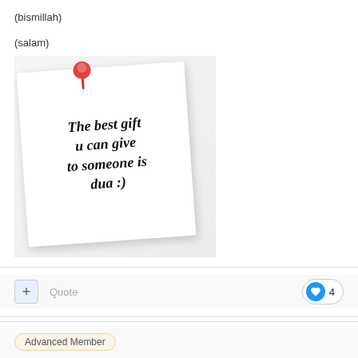(bismillah)
(salam)
[Figure (illustration): A sticky note pinned with a red thumbtack, slightly rotated, with text reading 'The best gift u can give to someone is dua :)']
+ Quote
4
Advanced Member